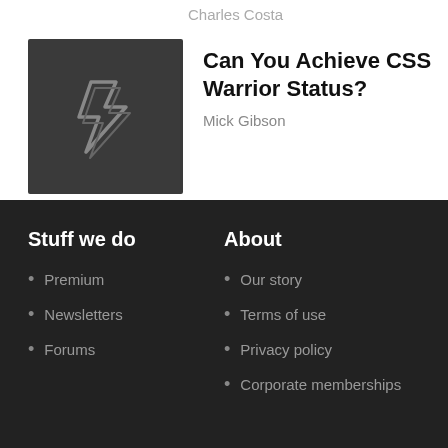Charles Costa
[Figure (logo): Dark gray square with a stylized double-S or lightning bolt logo outline in lighter gray]
Can You Achieve CSS Warrior Status?
Mick Gibson
Stuff we do
Premium
Newsletters
Forums
About
Our story
Terms of use
Privacy policy
Corporate memberships